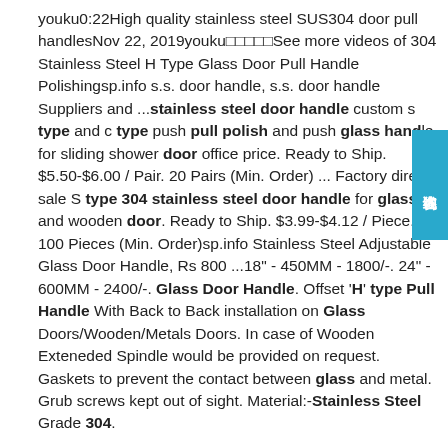youku0:22High quality stainless steel SUS304 door pull handlesNov 22, 2019youku□□□□□See more videos of 304 Stainless Steel H Type Glass Door Pull Handle Polishingsp.info s.s. door handle, s.s. door handle Suppliers and ...stainless steel door handle custom s type and c type push pull polish and push glass handle for sliding shower door office price. Ready to Ship. $5.50-$6.00 / Pair. 20 Pairs (Min. Order) ... Factory direct sale S type 304 stainless steel door handle for glass and wooden door. Ready to Ship. $3.99-$4.12 / Piece. 100 Pieces (Min. Order)sp.info Stainless Steel Adjustable Glass Door Handle, Rs 800 ...18" - 450MM - 1800/-. 24" - 600MM - 2400/-. Glass Door Handle. Offset 'H' type Pull Handle With Back to Back installation on Glass Doors/Wooden/Metals Doors. In case of Wooden Exteneded Spindle would be provided on request. Gaskets to prevent the contact between glass and metal. Grub screws kept out of sight. Material:-Stainless Steel Grade 304.